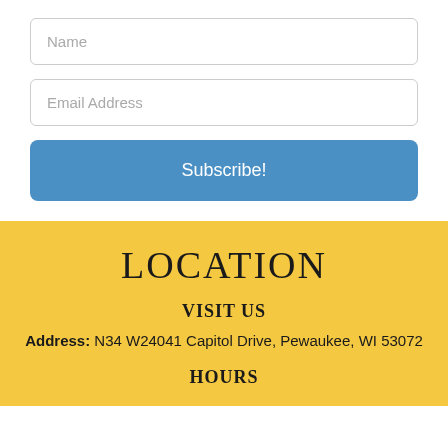Name
Email Address
Subscribe!
LOCATION
VISIT US
Address: N34 W24041 Capitol Drive, Pewaukee, WI 53072
HOURS